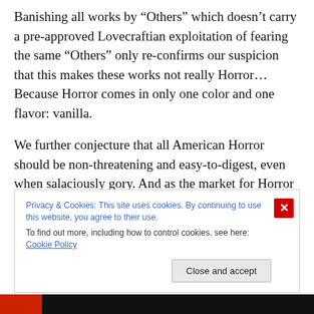Banishing all works by “Others” which doesn’t carry a pre-approved Lovecraftian exploitation of fearing the same “Others” only re-confirms our suspicion that this makes these works not really Horror…Because Horror comes in only one color and one flavor: vanilla.
We further conjecture that all American Horror should be non-threatening and easy-to-digest, even when salaciously gory. And as the market for Horror tightens, the belief is becoming reinforced – making the whole idea that we all should be writing in some way like Lovecraft while
Privacy & Cookies: This site uses cookies. By continuing to use this website, you agree to their use.
To find out more, including how to control cookies, see here: Cookie Policy